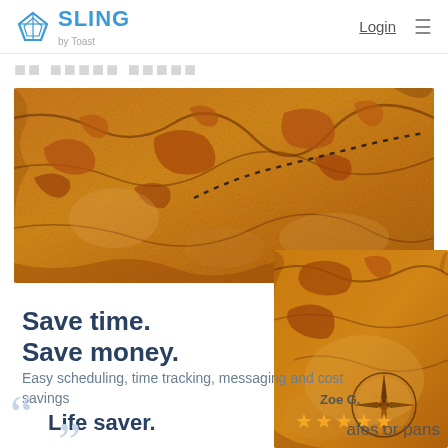SLING by Toast — Login
Save time. Save money.
Easy scheduling, time tracking, messaging and cost savings
[Figure (photo): Old vintage treasure map with islands, dotted trail, and compass rose, sepia toned]
"Life saver." — Zoe G. ★★★★★
afes or pans